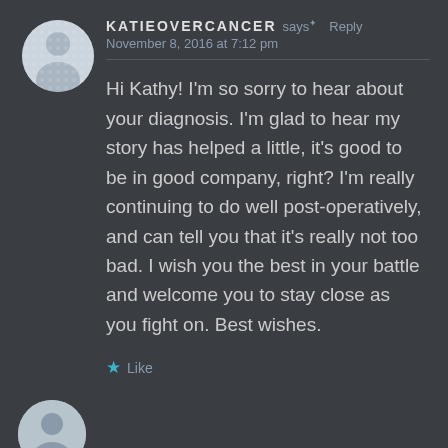KATIEOVERCANCER says: Reply
November 8, 2016 at 7:12 pm
Hi Kathy! I'm so sorry to hear about your diagnosis. I'm glad to hear my story has helped a little, it's good to be in good company, right? I'm really continuing to do well post-operatively, and can tell you that it's really not too bad. I wish you the best in your battle and welcome you to stay close as you fight on. Best wishes.
★ Like